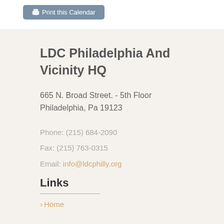[Figure (screenshot): Print this Calendar button with printer icon, gray-blue rounded button at top of page]
LDC Philadelphia And Vicinity HQ
665 N. Broad Street. - 5th Floor
Philadelphia, Pa 19123
Phone: (215) 684-2090
Fax: (215) 763-0315
Email: info@ldcphilly.org
Links
Home